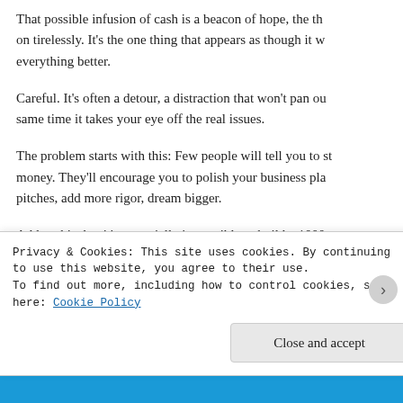That possible infusion of cash is a beacon of hope, the th on tirelessly. It's the one thing that appears as though it w everything better.
Careful. It's often a detour, a distraction that won't pan ou same time it takes your eye off the real issues.
The problem starts with this: Few people will tell you to st money. They'll encourage you to polish your business pla pitches, add more rigor, dream bigger.
Add to this that it's essentially impossible to build a 1000...
Privacy & Cookies: This site uses cookies. By continuing to use this website, you agree to their use.
To find out more, including how to control cookies, see here: Cookie Policy